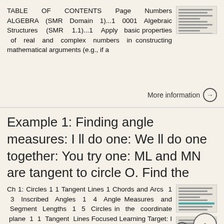TABLE OF CONTENTS Page Numbers ALGEBRA (SMR Domain 1)...1 0001 Algebraic Structures (SMR 1.1)...1 Apply basic properties of real and complex numbers in constructing mathematical arguments (e.g., if a
More information →
Example 1: Finding angle measures: I ll do one: We ll do one together: You try one: ML and MN are tangent to circle O. Find the
Ch 1: Circles 1 1 Tangent Lines 1 Chords and Arcs 1 3 Inscribed Angles 1 4 Angle Measures and Segment Lengths 1 5 Circles in the coordinate plane 1 1 Tangent Lines Focused Learning Target: I will be able
More information →